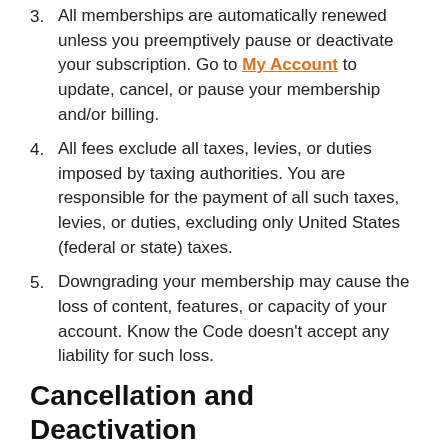3. All memberships are automatically renewed unless you preemptively pause or deactivate your subscription. Go to My Account to update, cancel, or pause your membership and/or billing.
4. All fees exclude all taxes, levies, or duties imposed by taxing authorities. You are responsible for the payment of all such taxes, levies, or duties, excluding only United States (federal or state) taxes.
5. Downgrading your membership may cause the loss of content, features, or capacity of your account. Know the Code doesn't accept any liability for such loss.
Cancellation and Deactivation
1. You are responsible for properly canceling your